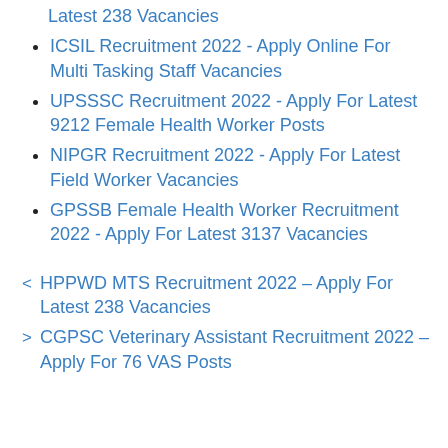Latest 238 Vacancies
ICSIL Recruitment 2022 - Apply Online For Multi Tasking Staff Vacancies
UPSSSC Recruitment 2022 - Apply For Latest 9212 Female Health Worker Posts
NIPGR Recruitment 2022 - Apply For Latest Field Worker Vacancies
GPSSB Female Health Worker Recruitment 2022 - Apply For Latest 3137 Vacancies
< HPPWD MTS Recruitment 2022 – Apply For Latest 238 Vacancies
> CGPSC Veterinary Assistant Recruitment 2022 – Apply For 76 VAS Posts